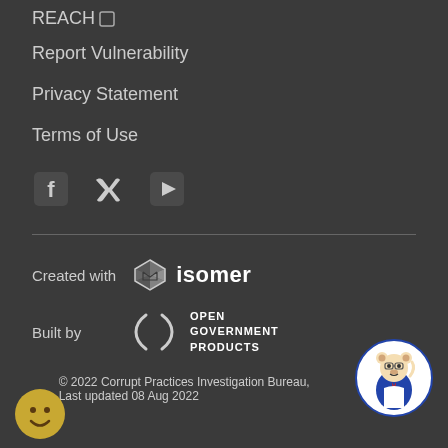REACH
Report Vulnerability
Privacy Statement
Terms of Use
[Figure (illustration): Social media icons: Facebook, Twitter, YouTube]
Created with isomer
Built by Open Government Products
© 2022 Corrupt Practices Investigation Bureau, Last updated 08 Aug 2022